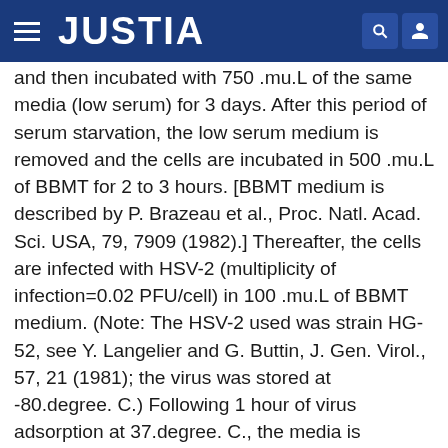JUSTIA
and then incubated with 750 .mu.L of the same media (low serum) for 3 days. After this period of serum starvation, the low serum medium is removed and the cells are incubated in 500 .mu.L of BBMT for 2 to 3 hours. [BBMT medium is described by P. Brazeau et al., Proc. Natl. Acad. Sci. USA, 79, 7909 (1982).] Thereafter, the cells are infected with HSV-2 (multiplicity of infection=0.02 PFU/cell) in 100 .mu.L of BBMT medium. (Note: The HSV-2 used was strain HG-52, see Y. Langelier and G. Buttin, J. Gen. Virol., 57, 21 (1981); the virus was stored at -80.degree. C.) Following 1 hour of virus adsorption at 37.degree. C., the media is removed and the cells are washed with BBMT (3.times.250 .mu.L). The cells in each well are incubated with or without (control) appropriate concentrations of the test agent-dissolved in 200 .mu.L of BBMT medium. After 29 hours of incubation at 37.degree. C., the infected cells are harvested by first